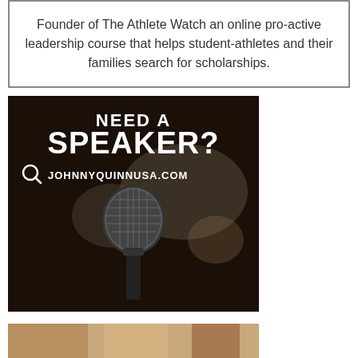Founder of The Athlete Watch an online pro-active leadership course that helps student-athletes and their families search for scholarships.
[Figure (photo): Advertisement with dark background showing a microphone. Text reads: NEED A SPEAKER? with JOHNNYQUINNUSA.COM and a magnifying glass icon.]
[Figure (photo): Partial bottom photo, cropped, appears to show a person.]